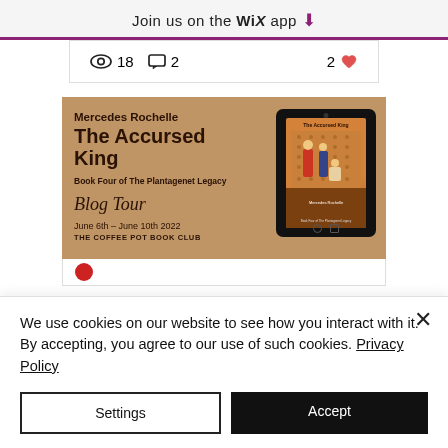Join us on the WiX app
👁 18  💬 2   2 ♥
[Figure (illustration): Book blog tour promotional banner for 'The Accursed King' by Mercedes Rochelle, Book Four of The Plantagenet Legacy. Blog Tour June 6th – June 10th 2022, The Coffee Pot Book Club. Features a tablet device showing the book cover.]
We use cookies on our website to see how you interact with it. By accepting, you agree to our use of such cookies. Privacy Policy
Settings
Accept